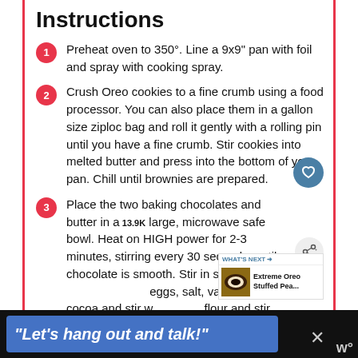Instructions
Preheat oven to 350°. Line a 9x9" pan with foil and spray with cooking spray.
Crush Oreo cookies to a fine crumb using a food processor. You can also place them in a gallon size ziploc bag and roll it gently with a rolling pin until you have a fine crumb. Stir cookies into melted butter and press into the bottom of your pan. Chill until brownies are prepared.
Place the two baking chocolates and butter in a large, microwave safe bowl. Heat on HIGH power for 2-3 minutes, stirring every 30 seconds, until chocolate is smooth. Stir in sugar, eggs, salt, vanilla, and cocoa and stir well. Add flour and stir carefully.
[Figure (other): Advertisement bar at bottom: blue box with italic text 'Let's hang out and talk!' on dark background with close button]
[Figure (other): WHAT'S NEXT widget: Extreme Oreo Stuffed Pea... with thumbnail image]